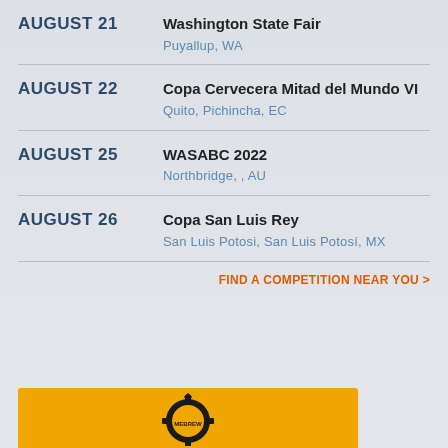AUGUST 21 | Washington State Fair | Puyallup, WA
AUGUST 22 | Copa Cervecera Mitad del Mundo VI | Quito, Pichincha, EC
AUGUST 25 | WASABC 2022 | Northbridge, , AU
AUGUST 26 | Copa San Luis Rey | San Luis Potosi, San Luis Potosí, MX
FIND A COMPETITION NEAR YOU >
[Figure (logo): Homebrewing organization logo on orange/amber background, partially visible at bottom of page]